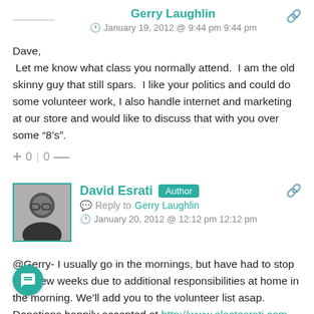Gerry Laughlin — January 19, 2012 @ 9:44 pm 9:44 pm
Dave,
 Let me know what class you normally attend.  I am the old skinny guy that still spars.  I like your politics and could do some volunteer work, I also handle internet and marketing at our store and would like to discuss that with you over some “8’s”.
+ 0 | 0 —
David Esrati — Author — Reply to Gerry Laughlin — January 20, 2012 @ 12:12 pm 12:12 pm
@Gerry- I usually go in the mornings, but have had to stop for a few weeks due to additional responsibilities at home in the morning. We’ll add you to the volunteer list asap. Donations happily accepted at http://www.electesrati.com